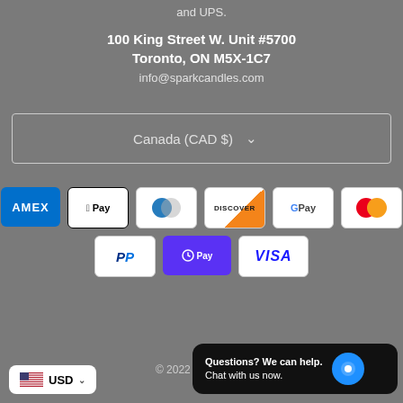and UPS.
100 King Street W. Unit #5700
Toronto, ON M5X-1C7
info@sparkcandles.com
Canada (CAD $)
[Figure (infographic): Payment method icons: American Express, Apple Pay, Diners Club, Discover, Google Pay, Mastercard, PayPal, Shop Pay, Visa]
© 2022 Spark Ca...
[Figure (infographic): USD currency selector badge with US flag]
Questions? We can help.
Chat with us now.